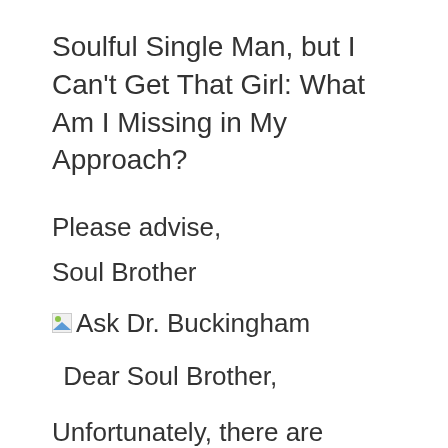Soulful Single Man, but I Can’t Get That Girl: What Am I Missing in My Approach?
Please advise,
Soul Brother
[Figure (photo): Broken image placeholder labeled 'Ask Dr. Buckingham']
Dear Soul Brother,
Unfortunately, there are thousands of brothers like you on the dating scene. What do I mean like you? Glad you asked. I